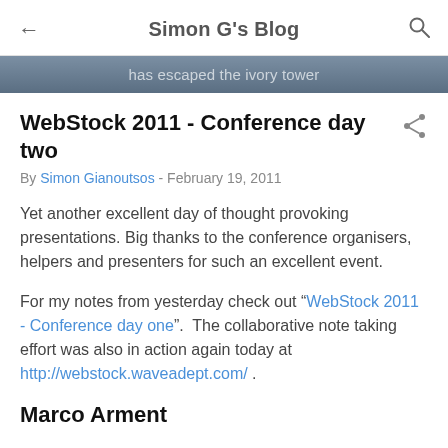Simon G's Blog
has escaped the ivory tower
WebStock 2011 - Conference day two
By Simon Gianoutsos - February 19, 2011
Yet another excellent day of thought provoking presentations. Big thanks to the conference organisers, helpers and presenters for such an excellent event.
For my notes from yesterday check out "WebStock 2011 - Conference day one".  The collaborative note taking effort was also in action again today at http://webstock.waveadept.com/ .
Marco Arment